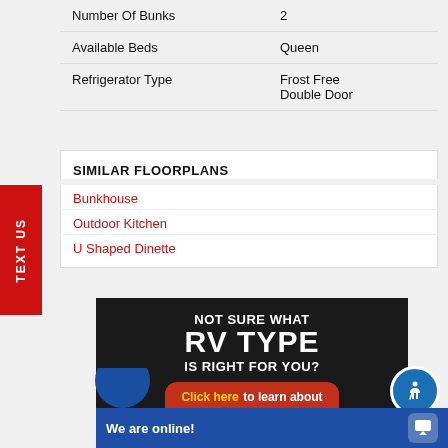| Feature | Value |
| --- | --- |
| Number Of Bunks | 2 |
| Available Beds | Queen |
| Refrigerator Type | Frost Free
Double Door |
SIMILAR FLOORPLANS
Bunkhouse
Outdoor Kitchen
U Shaped Dinette
[Figure (infographic): Dark background advertisement banner reading 'NOT SURE WHAT RV TYPE IS RIGHT FOR YOU?' with a red call-to-action button saying 'Click here to learn about the differences']
We are online!